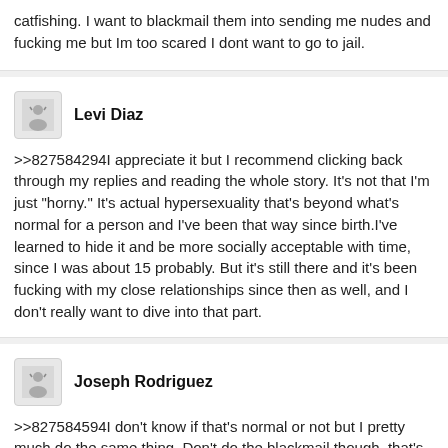catfishing. I want to blackmail them into sending me nudes and fucking me but Im too scared I dont want to go to jail.
Levi Diaz
>>827584294I appreciate it but I recommend clicking back through my replies and reading the whole story. It's not that I'm just "horny." It's actual hypersexuality that's beyond what's normal for a person and I've been that way since birth.I've learned to hide it and be more socially acceptable with time, since I was about 15 probably. But it's still there and it's been fucking with my close relationships since then as well, and I don't really want to dive into that part.
Joseph Rodriguez
>>827584594I don't know if that's normal or not but I pretty much do the same thing. Don't do the blackmail though, that's a terrible idea and you'll definitely go to jail